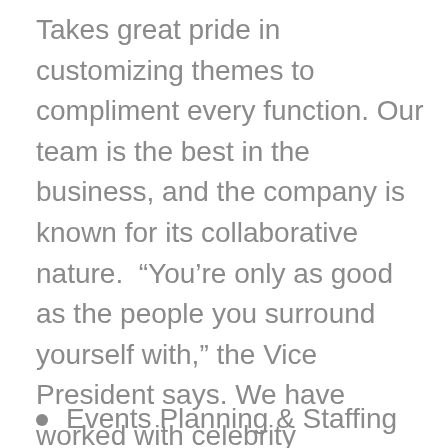Takes great pride in customizing themes to compliment every function. Our team is the best in the business, and the company is known for its collaborative nature.  “You’re only as good as the people you surround yourself with,” the Vice President says. We have worked with celebrity performers, artist, entertainers and promoters in executing and designing unique events, and have teamed up with clients and vendors from across the country to produce budget conscious, professional and sophisticated weddings, events, festival and promotion.
Events Planning & Staffing